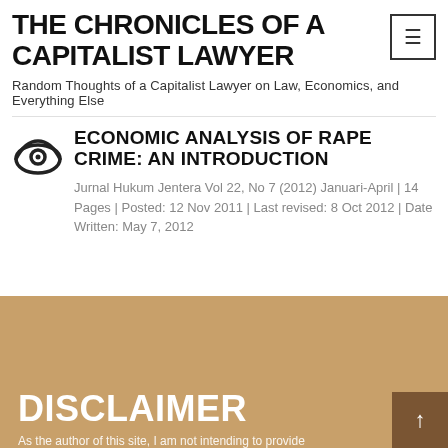THE CHRONICLES OF A CAPITALIST LAWYER
Random Thoughts of a Capitalist Lawyer on Law, Economics, and Everything Else
ECONOMIC ANALYSIS OF RAPE CRIME: AN INTRODUCTION
Jurnal Hukum Jentera Vol 22, No 7 (2012) Januari-April | 14 Pages | Posted: 12 Nov 2011 | Last revised: 8 Oct 2012 | Date Written: May 7, 2012
DISCLAIMER
As the author of this site, I am not intending to provide…